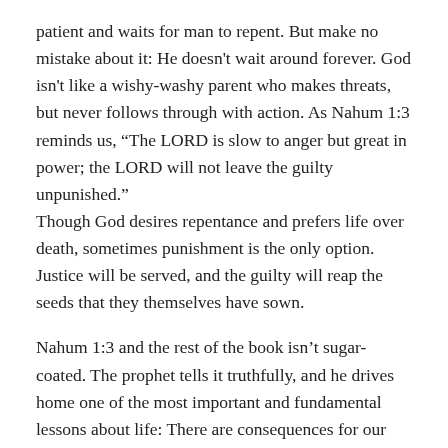patient and waits for man to repent. But make no mistake about it: He doesn't wait around forever. God isn't like a wishy-washy parent who makes threats, but never follows through with action. As Nahum 1:3 reminds us, “The LORD is slow to anger but great in power; the LORD will not leave the guilty unpunished.” Though God desires repentance and prefers life over death, sometimes punishment is the only option. Justice will be served, and the guilty will reap the seeds that they themselves have sown.
Nahum 1:3 and the rest of the book isn’t sugar-coated. The prophet tells it truthfully, and he drives home one of the most important and fundamental lessons about life: There are consequences for our actions. We are fortunate enough that our God is patient, merciful, and forgiving. But that doesn’t mean that we can — and will — get away with our sins. In the